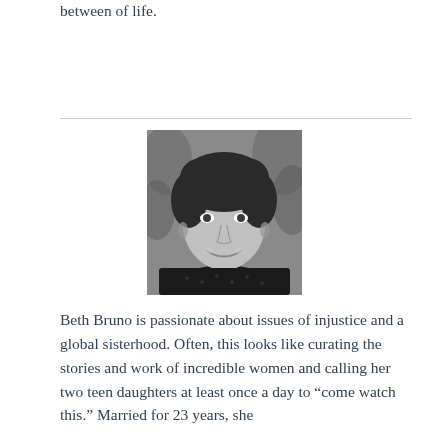between of life.
[Figure (photo): Black and white portrait photo of Beth Bruno, a woman with curly dark hair, smiling, wearing a dark lace top, with foliage in the background.]
Beth Bruno is passionate about issues of injustice and a global sisterhood. Often, this looks like curating the stories and work of incredible women and calling her two teen daughters at least once a day to “come watch this.” Married for 23 years, she